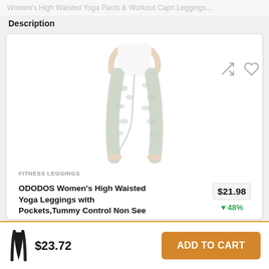Women's High Waisted Yoga Pants & Workout Capri Leggings...
Description
[Figure (photo): Woman wearing white/light camo print high-waisted yoga leggings, cropped view from waist to feet]
FITNESS LEGGINGS
ODODOS Women's High Waisted Yoga Leggings with Pockets,Tummy Control Non See Through Workout...
$21.98
↓48%
$23.72
ADD TO CART